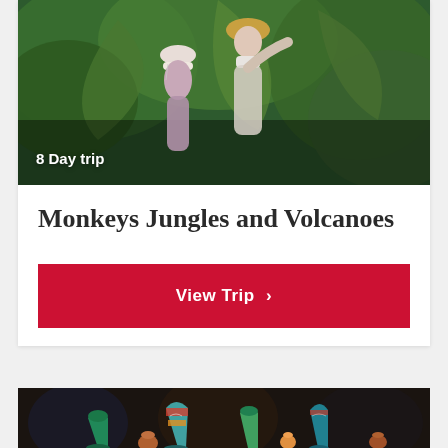[Figure (photo): Two people, a child wearing a white bucket hat and an adult with long hair wearing a straw hat, exploring a tropical jungle with large green leaves in the background. A badge reads '8 Day trip'.]
Monkeys Jungles and Volcanoes
View Trip >
[Figure (photo): Colorful ceramic pottery vases and bowls in teal, green, red, and multicolored patterns displayed on a market stall.]